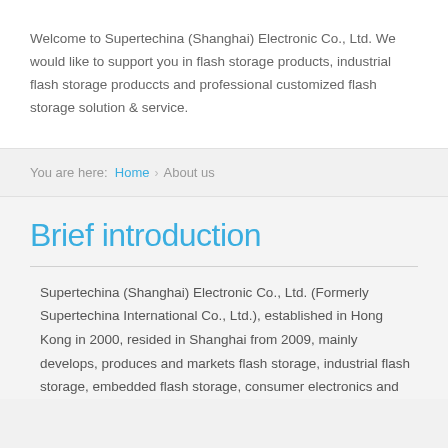Welcome to Supertechina (Shanghai) Electronic Co., Ltd. We would like to support you in flash storage products, industrial flash storage produccts and professional customized flash storage solution & service.
You are here:  Home  >  About us
Brief introduction
Supertechina (Shanghai) Electronic Co., Ltd. (Formerly Supertechina International Co., Ltd.), established in Hong Kong in 2000, resided in Shanghai from 2009, mainly develops, produces and markets flash storage, industrial flash storage, embedded flash storage, consumer electronics and